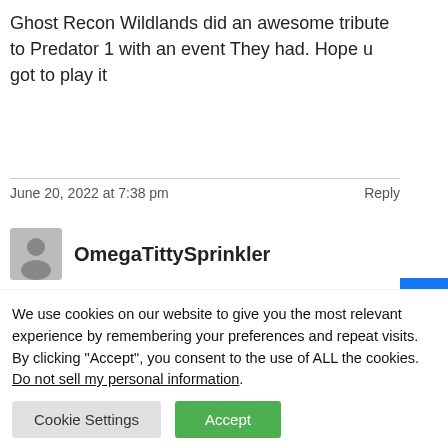Ghost Recon Wildlands did an awesome tribute to Predator 1 with an event They had. Hope u got to play it
June 20, 2022 at 7:38 pm
Reply
OmegaTittySprinkler
Why post the oldest iteration? Last AVP was PS3
June 20, 2022 at 7:39 pm
Reply
We use cookies on our website to give you the most relevant experience by remembering your preferences and repeat visits. By clicking “Accept”, you consent to the use of ALL the cookies.
Do not sell my personal information.